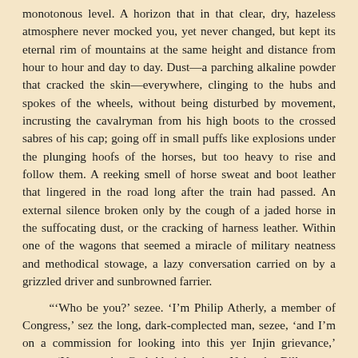monotonous level. A horizon that in that clear, dry, hazeless atmosphere never mocked you, yet never changed, but kept its eternal rim of mountains at the same height and distance from hour to hour and day to day. Dust—a parching alkaline powder that cracked the skin—everywhere, clinging to the hubs and spokes of the wheels, without being disturbed by movement, incrusting the cavalryman from his high boots to the crossed sabres of his cap; going off in small puffs like explosions under the plunging hoofs of the horses, but too heavy to rise and follow them. A reeking smell of horse sweat and boot leather that lingered in the road long after the train had passed. An external silence broken only by the cough of a jaded horse in the suffocating dust, or the cracking of harness leather. Within one of the wagons that seemed a miracle of military neatness and methodical stowage, a lazy conversation carried on by a grizzled driver and sunbrowned farrier.
"'Who be you?' sezee. 'I'm Philip Atherly, a member of Congress,' sez the long, dark-complected man, sezee, 'and I'm on a commission for looking into this yer Injin grievance,' sezee. 'You may be God Almighty,' sez Nebraska Bill, sezee, 'but you look a d—d sight more like a hoss-stealin' Apache, and we don't want any of your psalm-singing, big-talkin' peacemakers interferin' with our ways of treatin' pizen,—you hear me? I'm shoutin',' sezee. With that the dark-complected man's eyes began to glisten, and he sorter squirmed all over to